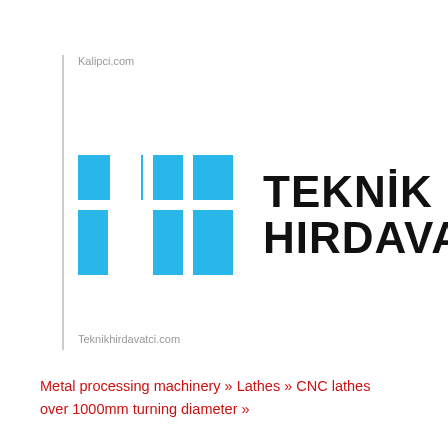Kalipci.com
[Figure (logo): Teknik Hirdavatci logo — blue geometric icon on left, bold black text TEKNIK HIRDAVATCI on right]
Teknikhirdavatci.com
Metal processing machinery » Lathes » CNC lathes over 1000mm turning diameter »